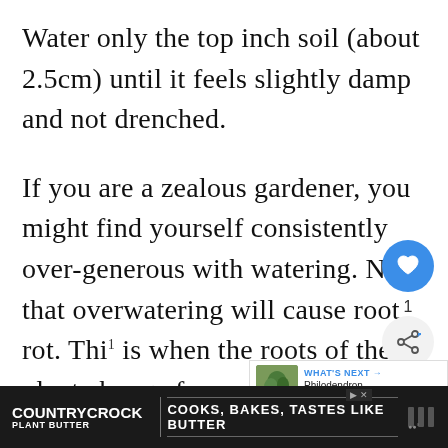Water only the top inch soil (about 2.5cm) until it feels slightly damp and not drenched.
If you are a zealous gardener, you might find yourself consistently over-generous with watering. Note that overwatering will cause root rot. This is when the roots of the plant change from standard healthy white to brown or black, becoming quite smelly.
[Figure (screenshot): UI overlay showing a blue heart/like button, share count of 1, and a share icon button]
[Figure (screenshot): What's Next panel showing a small plant photo thumbnail with text 'Philodendron Hederaceum...']
[Figure (screenshot): Country Crock Plant Butter advertisement banner: 'COOKS, BAKES, TASTES LIKE BUTTER']